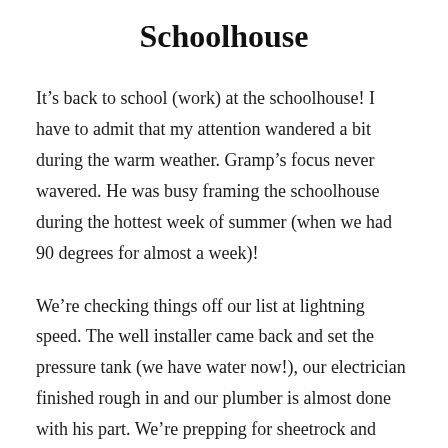Schoolhouse
It’s back to school (work) at the schoolhouse! I have to admit that my attention wandered a bit during the warm weather. Gramp’s focus never wavered. He was busy framing the schoolhouse during the hottest week of summer (when we had 90 degrees for almost a week)!
We’re checking things off our list at lightning speed. The well installer came back and set the pressure tank (we have water now!), our electrician finished rough in and our plumber is almost done with his part. We’re prepping for sheetrock and hoping to get that in next week! Our kitchen cabinets are purchased and I’m working on